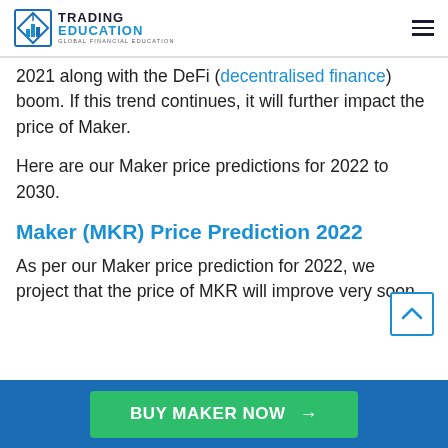Trading Education — Global Financial Education
2021 along with the DeFi (decentralised finance) boom. If this trend continues, it will further impact the price of Maker.
Here are our Maker price predictions for 2022 to 2030.
Maker (MKR) Price Prediction 2022
As per our Maker price prediction for 2022, we project that the price of MKR will improve very soon.
BUY MAKER NOW →